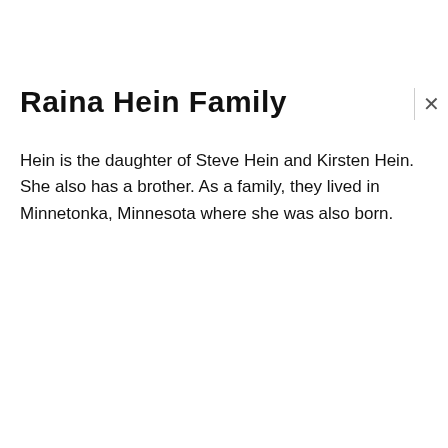Raina Hein Family
Hein is the daughter of Steve Hein and Kirsten Hein. She also has a brother. As a family, they lived in Minnetonka, Minnesota where she was also born.